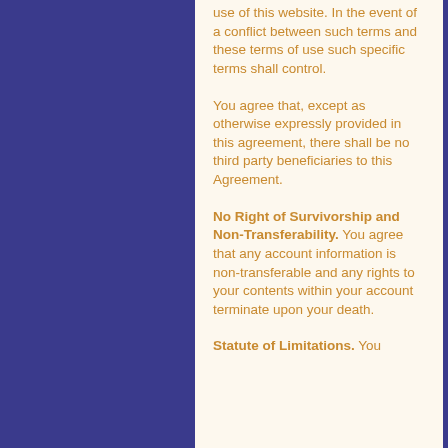use of this website. In the event of a conflict between such terms and these terms of use such specific terms shall control.
You agree that, except as otherwise expressly provided in this agreement, there shall be no third party beneficiaries to this Agreement.
No Right of Survivorship and Non-Transferability. You agree that any account information is non-transferable and any rights to your contents within your account terminate upon your death.
Statute of Limitations. You